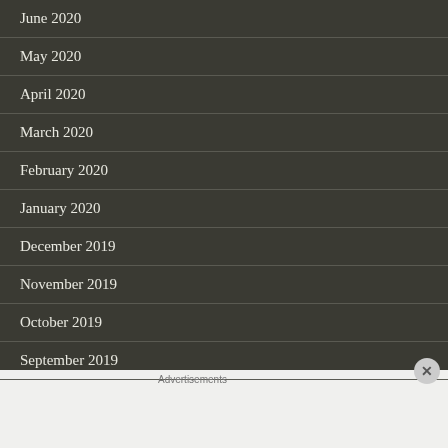June 2020
May 2020
April 2020
March 2020
February 2020
January 2020
December 2019
November 2019
October 2019
September 2019
Advertisements
[Figure (screenshot): Advertisement banner for WordPress Hosting: 'WORDPRESS HOSTING THAT MEANS BUSINESS.' with a P logo and an open sign photo]